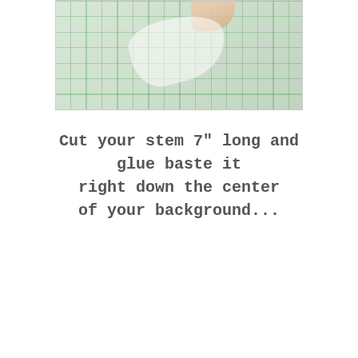[Figure (photo): Close-up photo of hands cutting or peeling fabric on a green gridded cutting mat with a rotary cutter or similar tool]
Cut your stem 7" long and glue baste it right down the center of your background...
[Figure (photo): Photo of a quilt block or mug rug with orange striped borders and various fabric patches on a teal cutting mat, with a glue bottle nearby]